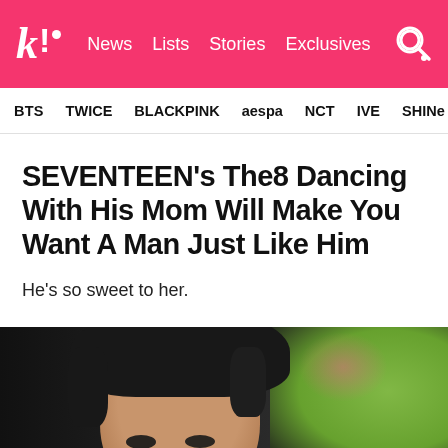k! News Lists Stories Exclusives
BTS TWICE BLACKPINK aespa NCT IVE SHINE
SEVENTEEN's The8 Dancing With His Mom Will Make You Want A Man Just Like Him
He's so sweet to her.
[Figure (photo): Close-up photo of a young Asian man with dark black hair, looking toward the camera with dark eyes. He has an earring visible. Background is blurred with green and pink tones.]